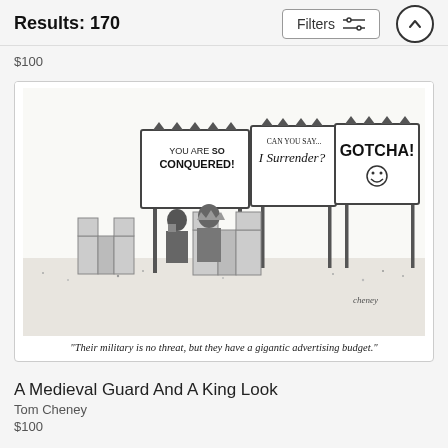Results: 170   Filters
$100
[Figure (illustration): A New Yorker-style cartoon by Tom Cheney showing two medieval figures (a guard and a king) standing on castle battlements, looking out at three large billboard signs. The signs read: 'YOU ARE SO CONQUERED!', 'CAN YOU SAY... I Surrender?', and 'GOTCHA!' with a smiley face. Caption reads: "Their military is no threat, but they have a gigantic advertising budget."]
"Their military is no threat, but they have a gigantic advertising budget."
A Medieval Guard And A King Look
Tom Cheney
$100